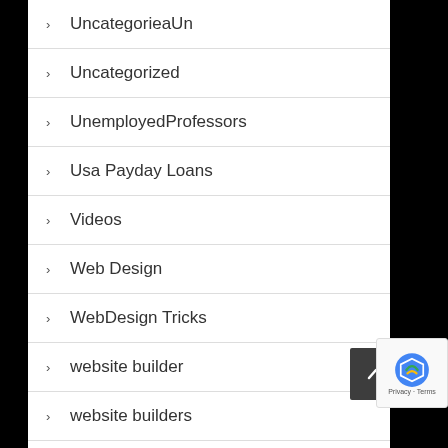UncategorieaUn
Uncategorized
UnemployedProfessors
Usa Payday Loans
Videos
Web Design
WebDesign Tricks
website builder
website builders
website creator